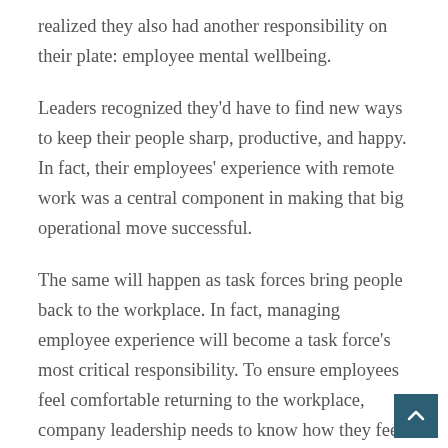realized they also had another responsibility on their plate: employee mental wellbeing.
Leaders recognized they'd have to find new ways to keep their people sharp, productive, and happy. In fact, their employees' experience with remote work was a central component in making that big operational move successful.
The same will happen as task forces bring people back to the workplace. In fact, managing employee experience will become a task force's most critical responsibility. To ensure employees feel comfortable returning to the workplace, company leadership needs to know how they feel about coming back and what safety concerns they may have. Then